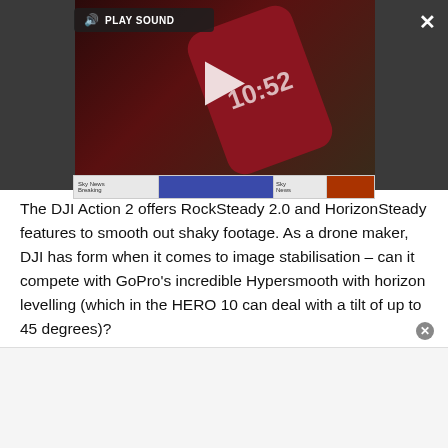[Figure (screenshot): Video player overlay showing a dark background with a video thumbnail of a red phone, a play button, a PLAY SOUND bar, a close (X) button, and an expand icon. Below the video is an ad strip.]
The DJI Action 2 offers RockSteady 2.0 and HorizonSteady features to smooth out shaky footage. As a drone maker, DJI has form when it comes to image stabilisation – can it compete with GoPro's incredible Hypersmooth with horizon levelling (which in the HERO 10 can deal with a tilt of up to 45 degrees)?
With its 4K/120fps shooting capabilities, enabled by a 1/1.7-inch sensor, it's not quite up there with the newest GoPros